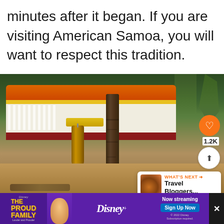minutes after it began. If you are visiting American Samoa, you will want to respect this tradition.
[Figure (photo): Outdoor scene in American Samoa showing a yellow punching bag hanging from a yellow crossbar on a post, a large tree trunk in the center, and a colorful building with red/orange roof and yellow trim in the background, surrounded by tropical vegetation. Watermark reads '© Rhonda Albom'.]
[Figure (infographic): Advertisement banner for The Proud Family: Louder and Prouder on Disney+. Purple background with animated character, Disney+ logo, 'Now Streaming' text, and 'Sign Up Now' button. © 2022 Disney. Subscription required.]